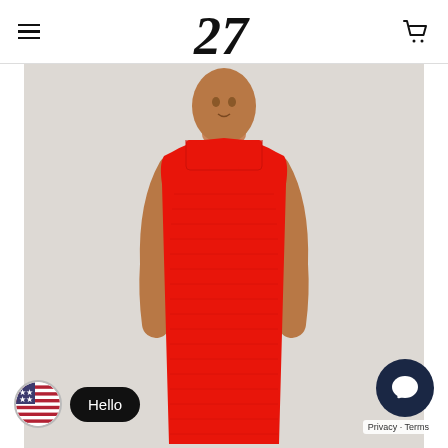[Figure (logo): 27 logo in italic serif font, centered in header]
[Figure (photo): Fashion model wearing a sleeveless red ribbed bodycon dress, standing against a light gray background. Upper body and mid-section visible. Square neckline.]
Hello
Privacy · Terms